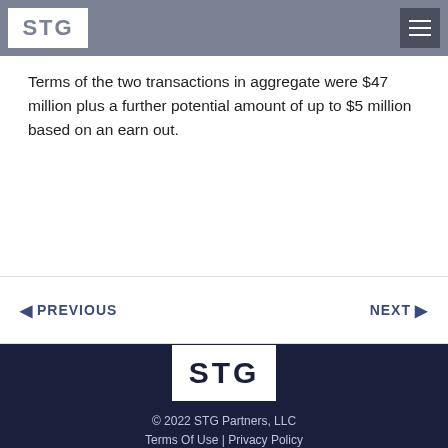STG [logo] [hamburger menu]
Terms of the two transactions in aggregate were $47 million plus a further potential amount of up to $5 million based on an earn out.
◄ PREVIOUS   NEXT ►
[Figure (logo): STG Partners logo in white box on dark navy footer background]
© 2022 STG Partners, LLC
Terms Of Use | Privacy Policy